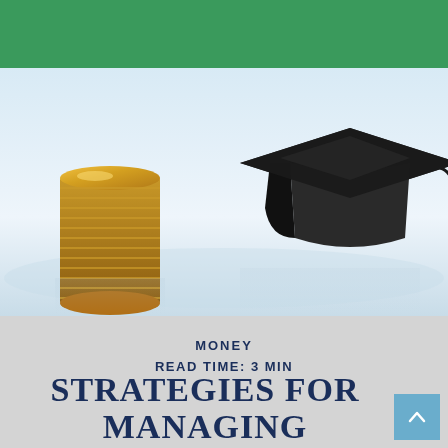[Figure (photo): A stack of gold coins next to a black graduation cap (mortarboard) with tassel, photographed on a reflective white surface against a light background.]
MONEY
READ TIME: 3 MIN
STRATEGIES FOR MANAGING STUDENT